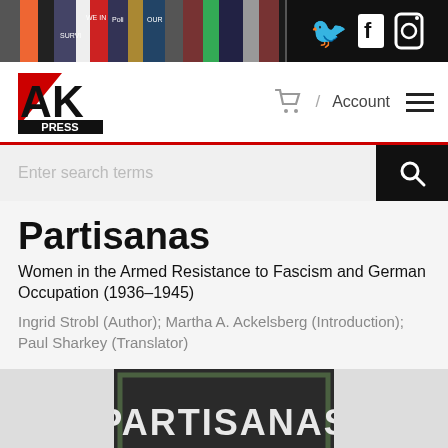[Figure (screenshot): Header banner with colorful book spines and social media icons (Twitter, Facebook, Instagram) on the right]
[Figure (logo): AK Press logo — red triangle, black letters AK, PRESS below]
/ Account
Enter search terms
Partisanas
Women in the Armed Resistance to Fascism and German Occupation (1936–1945)
Ingrid Strobl (Author); Martha A. Ackelsberg (Introduction); Paul Sharkey (Translator)
[Figure (photo): Book cover showing the word PARTISANAS in stencil letters on a dark background with a green border]